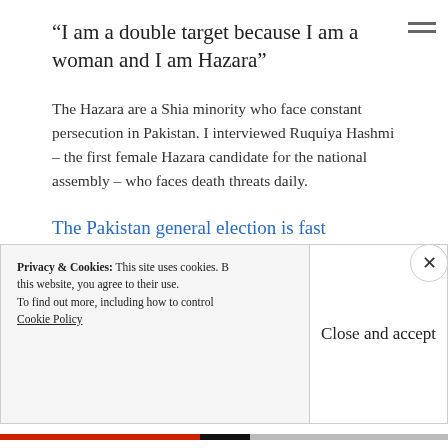“I am a double target because I am a woman and I am Hazara”
The Hazara are a Shia minority who face constant persecution in Pakistan. I interviewed Ruquiya Hashmi – the first female Hazara candidate for the national assembly – who faces death threats daily.
The Pakistan general election is fast approaching – but one community will not be casting votes
Privacy & Cookies: This site uses cookies. By continuing to use this website, you agree to their use. To find out more, including how to control cookies, see here: Cookie Policy
Close and accept